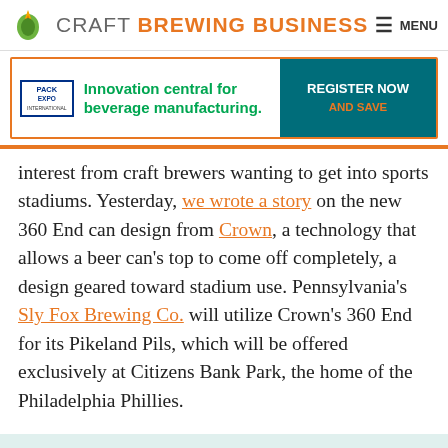CRAFT BREWING BUSINESS  MENU
[Figure (infographic): Pack Expo International advertisement banner: 'Innovation central for beverage manufacturing. REGISTER NOW AND SAVE']
interest from craft brewers wanting to get into sports stadiums. Yesterday, we wrote a story on the new 360 End can design from Crown, a technology that allows a beer can's top to come off completely, a design geared toward stadium use. Pennsylvania's Sly Fox Brewing Co. will utilize Crown's 360 End for its Pikeland Pils, which will be offered exclusively at Citizens Bank Park, the home of the Philadelphia Phillies.